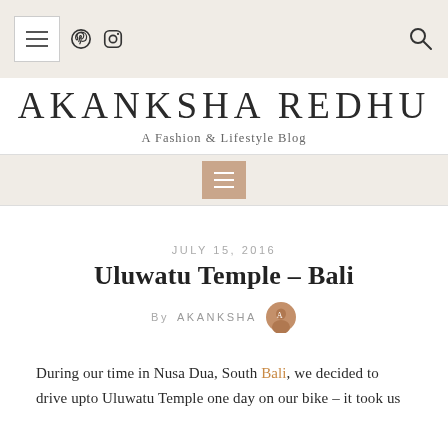AKANKSHA REDHU — A Fashion & Lifestyle Blog — Navigation
AKANKSHA REDHU
A Fashion & Lifestyle Blog
JULY 15, 2016
Uluwatu Temple – Bali
By AKANKSHA
During our time in Nusa Dua, South Bali, we decided to drive upto Uluwatu Temple one day on our bike – it took us